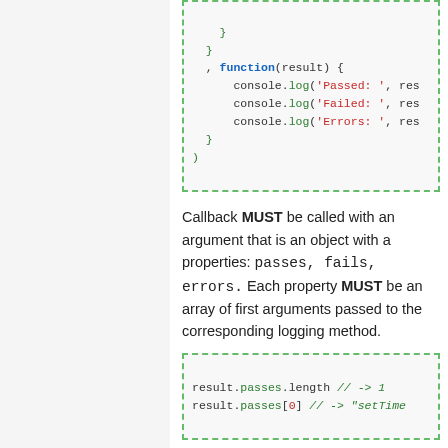[Figure (screenshot): Code block showing JavaScript with closing braces and a function(result) callback with console.log statements for Passed, Failed, and Errors]
Callback MUST be called with an argument that is an object with a properties: passes, fails, errors. Each property MUST be an array of first arguments passed to the corresponding logging method.
[Figure (screenshot): Code block showing: result.passes.length // -> 1 and result.passes[0] // -> "setTime..."]
Resources